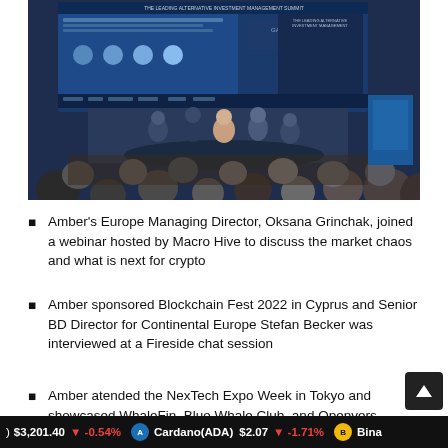[Figure (photo): Photo of a panel discussion at The Leading Alternative Investment Management Summit, with panelists seated on stage in front of a large screen, and an audience visible from behind.]
Amber's Europe Managing Director, Oksana Grinchak, joined a webinar hosted by Macro Hive to discuss the market chaos and what is next for crypto
Amber sponsored Blockchain Fest 2022 in Cyprus and Senior BD Director for Continental Europe Stefan Becker was interviewed at a Fireside chat session
Amber atended the NexTech Expo Week in Tokyo and showcased WhaleFin, Blue Whale Club, and Openvers
$3,201.40 ↓ -0.54%   Cardano(ADA) $2.07 ↓ -1.71%   Bina